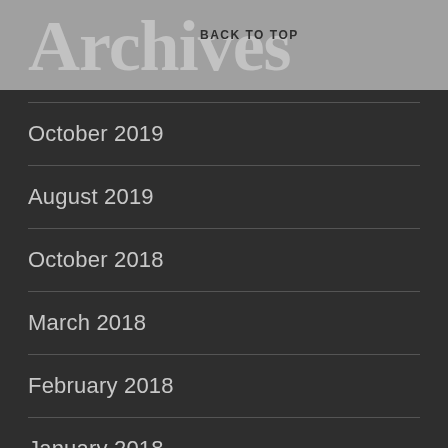Archives
BACK TO TOP
October 2019
August 2019
October 2018
March 2018
February 2018
January 2018
December 2017
November 2017